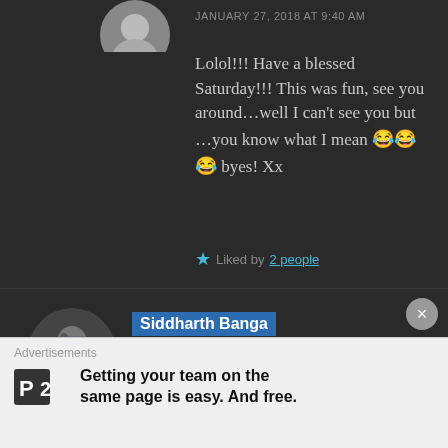JANUARY 27, 2018 AT 9:40 AM
Lolol!!! Have a blessed Saturday!!! This was fun, see you around…well I can't see you but …you know what I mean 😂😂😂 byes! Xx
★ Liked by 2 people
Siddharth Banga
JANUARY 27, 2018 AT 9:41 AM
I got what you want to say, XD, bye!
Advertisements
Getting your team on the same page is easy. And free.